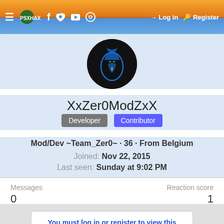≡ PSXHAX  f  Twitter  YouTube  Chat  → Log in  Register
[Figure (photo): Circular avatar with dark background showing a blue glowing wolf/animal illustration]
XxZer0ModZxX
Developer  Contributor
Mod/Dev ~Team_Zer0~ · 36 · From Belgium
Joined: Nov 22, 2015
Last seen: Sunday at 9:02 PM
| Messages | Reaction score |
| --- | --- |
| 0 | 1 |
You must log in or register to view this content.